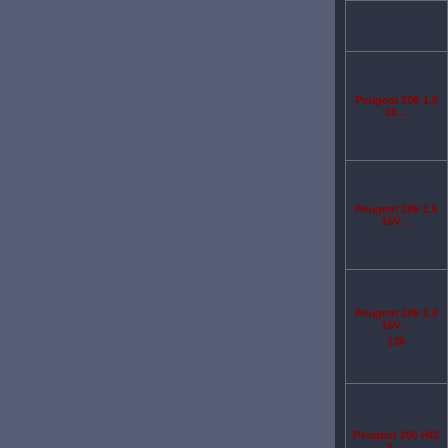[Figure (screenshot): Dark themed UI panel showing a list of Peugeot 206 car models in red text on dark background. Left portion shows a lighter gray-blue panel. Right portion contains a darker panel with table rows listing: Peugeot 206 1.6 10... (partially visible), Peugeot 206 1.6 16V... (partially visible), Peugeot 206 2.0 16V... 136 (partially visible), Peugeot 206 HDI 2... (partially visible)]